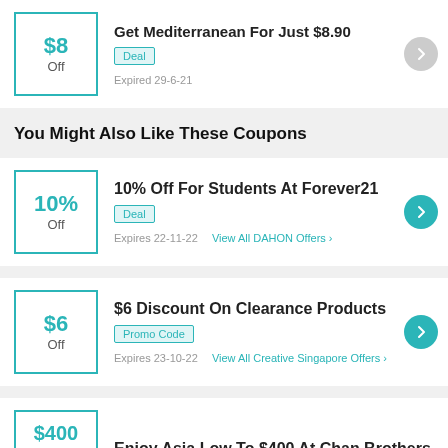Get Mediterranean For Just $8.90 | $8 Off | Deal | Expired 29-6-21
You Might Also Like These Coupons
10% Off For Students At Forever21 | 10% Off | Deal | Expires 22-11-22 | View All DAHON Offers
$6 Discount On Clearance Products | $6 Off | Promo Code | Expires 23-10-22 | View All Creative Singapore Offers
Enjoy Asia Low To $400 At Chan Brothers